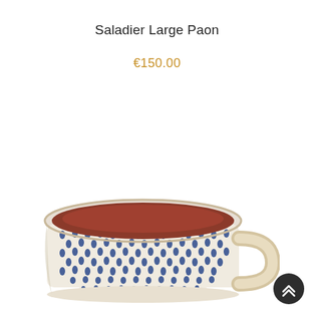Saladier Large Paon
€150.00
[Figure (photo): Ceramic mug with blue dotted/raindrop pattern on cream/white exterior, terracotta brown interior, and a cream-colored handle. The mug is wide and short in shape, photographed from a slightly elevated angle.]
[Figure (other): Dark circular scroll-to-top button with double chevron up arrows, positioned in the bottom-right corner.]